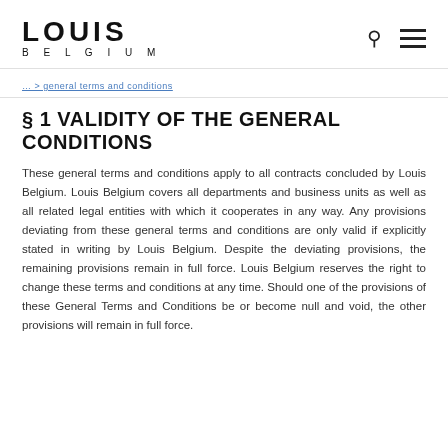LOUIS BELGIUM
… > general terms and conditions
§ 1 VALIDITY OF THE GENERAL CONDITIONS
These general terms and conditions apply to all contracts concluded by Louis Belgium. Louis Belgium covers all departments and business units as well as all related legal entities with which it cooperates in any way. Any provisions deviating from these general terms and conditions are only valid if explicitly stated in writing by Louis Belgium. Despite the deviating provisions, the remaining provisions remain in full force. Louis Belgium reserves the right to change these terms and conditions at any time. Should one of the provisions of these General Terms and Conditions be or become null and void, the other provisions will remain in full force.